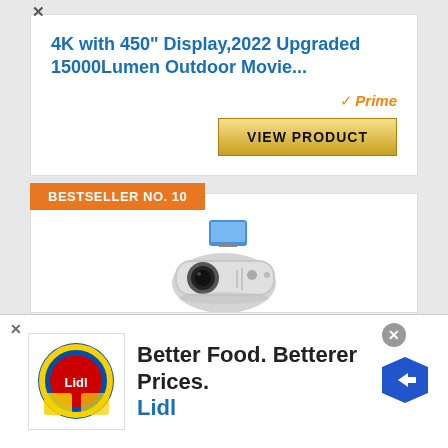4K with 450" Display,2022 Upgraded 15000Lumen Outdoor Movie...
[Figure (other): Amazon Prime badge]
VIEW PRODUCT
BESTSELLER NO. 10
[Figure (photo): WiMiUS projector with phone on top, white/silver color]
Projector, WiMiUS Native 1080P Movie Projector Support 200" Display
[Figure (other): Lidl advertisement banner - Better Food. Betterer Prices. Lidl]